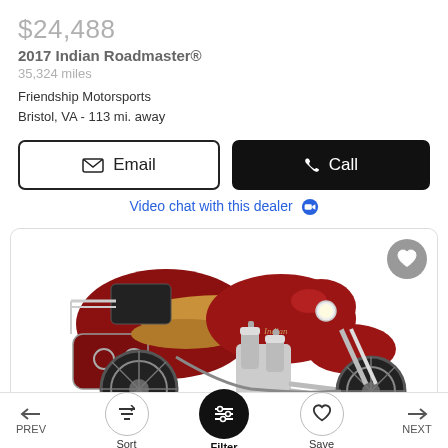$24,488
2017 Indian Roadmaster®
35,324 miles
Friendship Motorsports
Bristol, VA - 113 mi. away
[Figure (screenshot): Email button (outlined) and Call button (black) side by side]
Video chat with this dealer 💬
[Figure (photo): Red 2017 Indian Roadmaster motorcycle on white background, side profile view showing tan seat, chrome engine, saddlebags, and touring fairing]
← PREV   Sort   Filter   Save   NEXT →